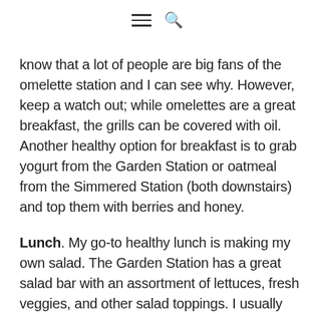[hamburger menu icon] [search icon]
know that a lot of people are big fans of the omelette station and I can see why. However, keep a watch out; while omelettes are a great breakfast, the grills can be covered with oil. Another healthy option for breakfast is to grab yogurt from the Garden Station or oatmeal from the Simmered Station (both downstairs) and top them with berries and honey.
Lunch. My go-to healthy lunch is making my own salad. The Garden Station has a great salad bar with an assortment of lettuces, fresh veggies, and other salad toppings. I usually stay away from the heavy dressings at the salad bar and opt for some olive oil and vinegar. Adding a little bit of hummus is also a great option! I then head over to the Grill Station and ask for grilled chicken or a veggie burger to put on top